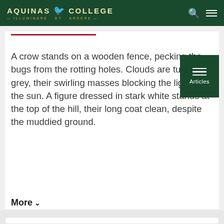AQUINAS COLLEGE — ILLUMINARE ET ARDERE
A crow stands on a wooden fence, pecking the bugs from the rotting holes. Clouds are turning grey, their swirling masses blocking the light from the sun. A figure dressed in stark white stands at the top of the hill, their long coat clean, despite the muddied ground.
More